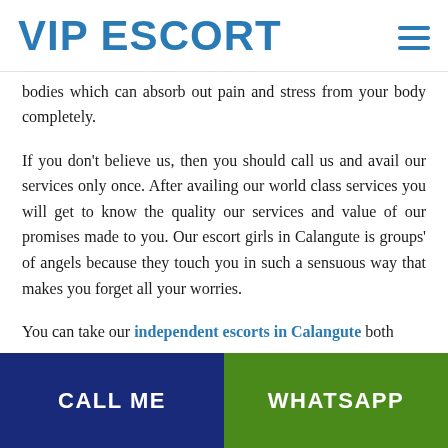VIP ESCORT
bodies which can absorb out pain and stress from your body completely.
If you don't believe us, then you should call us and avail our services only once. After availing our world class services you will get to know the quality our services and value of our promises made to you. Our escort girls in Calangute is groups' of angels because they touch you in such a sensuous way that makes you forget all your worries.
You can take our independent escorts in Calangute both
CALL ME   WHATSAPP